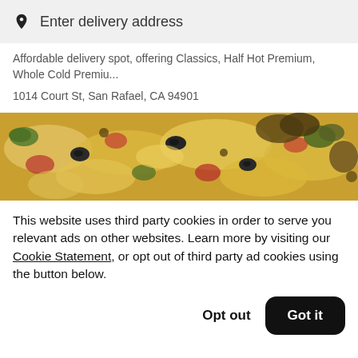Enter delivery address
Affordable delivery spot, offering Classics, Half Hot Premium, Whole Cold Premiu...
1014 Court St, San Rafael, CA 94901
[Figure (photo): Close-up photo of a pizza with various toppings including olives, vegetables, and melted cheese]
This website uses third party cookies in order to serve you relevant ads on other websites. Learn more by visiting our Cookie Statement, or opt out of third party ad cookies using the button below.
Opt out
Got it